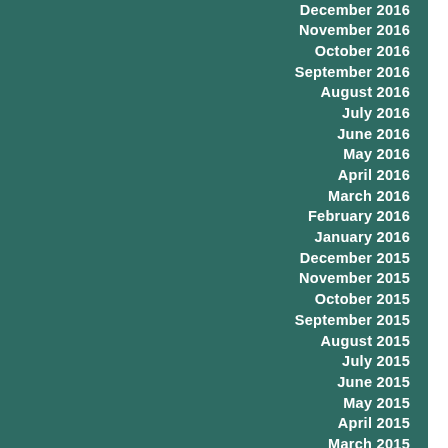December 2016
November 2016
October 2016
September 2016
August 2016
July 2016
June 2016
May 2016
April 2016
March 2016
February 2016
January 2016
December 2015
November 2015
October 2015
September 2015
August 2015
July 2015
June 2015
May 2015
April 2015
March 2015
February 2015
January 2015
December 2014
November 2014
October 2014
September 2014
August 2014
July 2014
June 2014